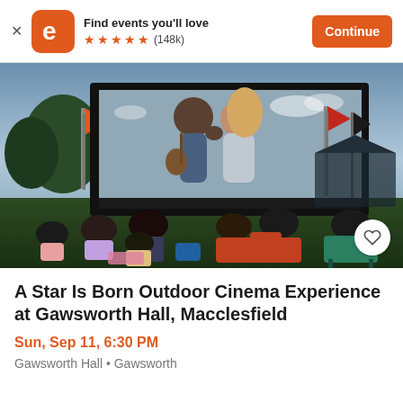Find events you'll love ★★★★★ (148k) Continue
[Figure (photo): Outdoor cinema event showing a couple on a large screen, with an audience sitting on grass in front of it. Flags visible on the sides, twilight sky.]
A Star Is Born Outdoor Cinema Experience at Gawsworth Hall, Macclesfield
Sun, Sep 11, 6:30 PM
Gawsworth Hall • Gawsworth